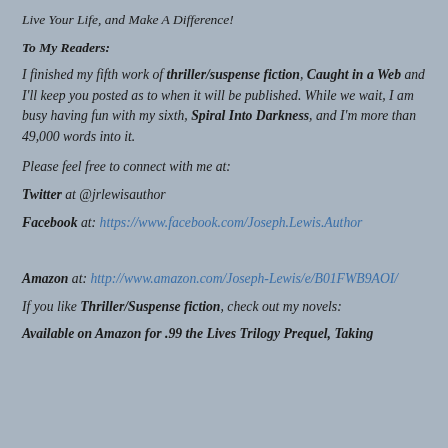Live Your Life, and Make A Difference!
To My Readers:
I finished my fifth work of thriller/suspense fiction, Caught in a Web and I'll keep you posted as to when it will be published. While we wait, I am busy having fun with my sixth, Spiral Into Darkness, and I'm more than 49,000 words into it.
Please feel free to connect with me at:
Twitter at @jrlewisauthor
Facebook at: https://www.facebook.com/Joseph.Lewis.Author
Amazon at: http://www.amazon.com/Joseph-Lewis/e/B01FWB9AOI/
If you like Thriller/Suspense fiction, check out my novels:
Available on Amazon for .99 the Lives Trilogy Prequel, Taking